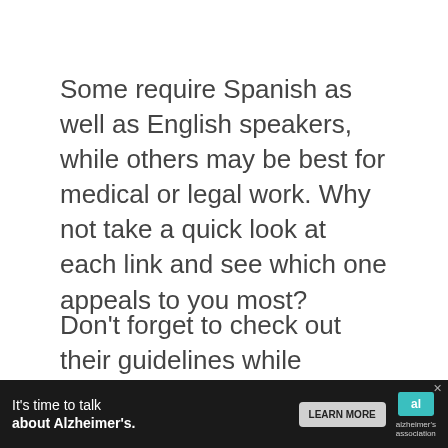Some require Spanish as well as English speakers, while others may be best for medical or legal work. Why not take a quick look at each link and see which one appeals to you most?
Don't forget to check out their guidelines while you're there, if you're interested in applying.
5. Progress your
[Figure (other): Advertisement banner: It's time to talk about Alzheimer's. LEARN MORE button. Alzheimer's Association logo.]